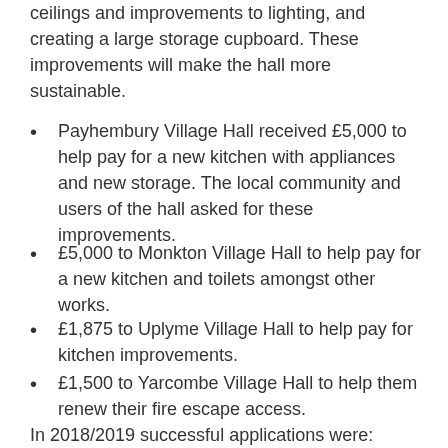ceilings and improvements to lighting, and creating a large storage cupboard. These improvements will make the hall more sustainable.
Payhembury Village Hall received £5,000 to help pay for a new kitchen with appliances and new storage. The local community and users of the hall asked for these improvements.
£5,000 to Monkton Village Hall to help pay for a new kitchen and toilets amongst other works.
£1,875 to Uplyme Village Hall to help pay for kitchen improvements.
£1,500 to Yarcombe Village Hall to help them renew their fire escape access.
In 2018/2019 successful applications were: